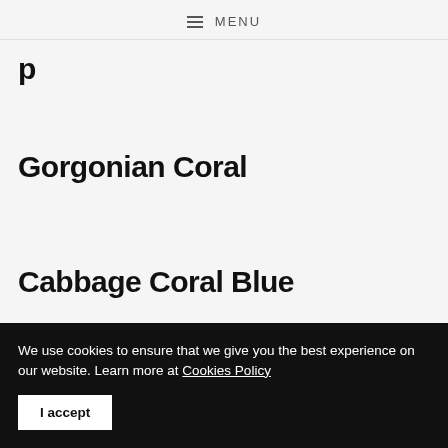MENU
Gorgonian Coral
Cabbage Coral Blue
We use cookies to ensure that we give you the best experience on our website. Learn more at Cookies Policy
I accept